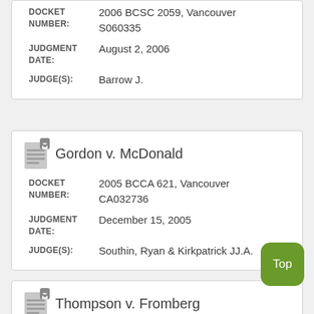| DOCKET NUMBER: | 2006 BCSC 2059, Vancouver S060335 |
| JUDGMENT DATE: | August 2, 2006 |
| JUDGE(S): | Barrow J. |
Gordon v. McDonald
| DOCKET NUMBER: | 2005 BCCA 621, Vancouver CA032736 |
| JUDGMENT DATE: | December 15, 2005 |
| JUDGE(S): | Southin, Ryan & Kirkpatrick JJ.A. |
Thompson v. Fromberg